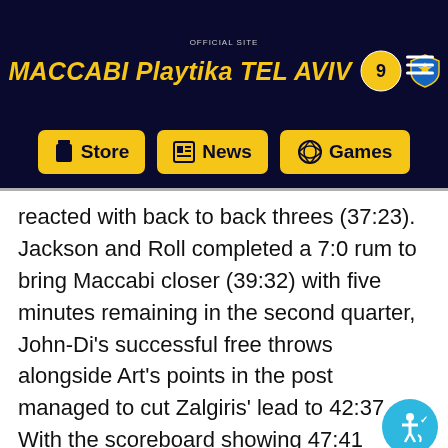MACCABI Playtika TEL AVIV
reacted with back to back threes (37:23). Jackson and Roll completed a 7:0 rum to bring Maccabi closer (39:32) with five minutes remaining in the second quarter, John-Di's successful free throws alongside Art's points in the post managed to cut Zalgiris' lead to 42:37. With the scoreboard showing 47:41 Zalgiris called for a timeout. Pangos scored from distance again to give Zalgiris the 50:42 lead. Milaknis scored a free throw but Cole helped start a 4:0 run for the yellows (51:46), Ulanovas scored